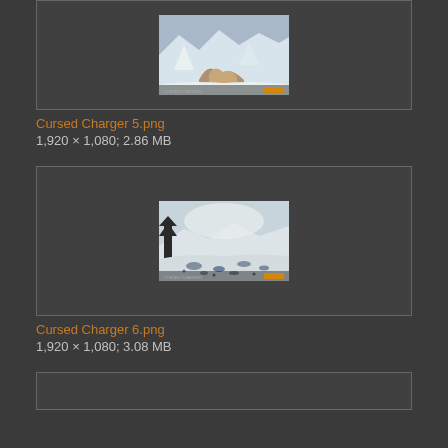[Figure (photo): Thumbnail of Cursed Charger 5.png - a snowy fantasy scene with creatures or rocks in a winter landscape, with a logo watermark at bottom right]
Cursed Charger 5.png
1,920 × 1,080; 2.86 MB
[Figure (photo): Thumbnail of Cursed Charger 6.png - a snowy ground scene with scattered rocks/debris and misty mountains in background, with a logo watermark at bottom right]
Cursed Charger 6.png
1,920 × 1,080; 3.08 MB
[Figure (photo): Partial view of next image box at bottom of page]